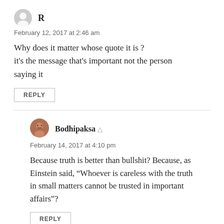[Figure (illustration): Gray user avatar icon (silhouette head/shoulders)]
R
February 12, 2017 at 2:46 am
Why does it matter whose quote it is ?
it's the message that's important not the person saying it
REPLY
[Figure (photo): Small round avatar photo of Bodhipaksa, a man with a beard]
Bodhipaksa ▲
February 14, 2017 at 4:10 pm
Because truth is better than bullshit? Because, as Einstein said, “Whoever is careless with the truth in small matters cannot be trusted in important affairs”?
REPLY